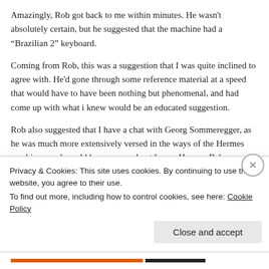Amazingly, Rob got back to me within minutes. He wasn't absolutely certain, but he suggested that the machine had a “Brazilian 2” keyboard.
Coming from Rob, this was a suggestion that I was quite inclined to agree with. He'd gone through some reference material at a speed that would have to have been nothing but phenomenal, and had come up with what i knew would be an educated suggestion.
Rob also suggested that I have a chat with Georg Sommeregger, as he was much more extensively versed in the ways of the Hermes machines, and would know more about how a Hermes Baby come to be made in Germany – and possibly more on the
Privacy & Cookies: This site uses cookies. By continuing to use this website, you agree to their use.
To find out more, including how to control cookies, see here: Cookie Policy
Close and accept